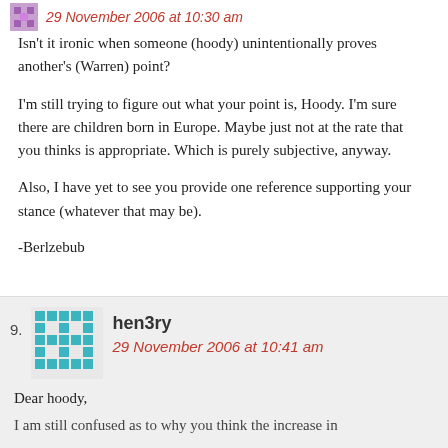29 November 2006 at 10:30 am
Isn’t it ironic when someone (hoody) unintentionally proves another’s (Warren) point?
I’m still trying to figure out what your point is, Hoody. I’m sure there are children born in Europe. Maybe just not at the rate that you thinks is appropriate. Which is purely subjective, anyway.
Also, I have yet to see you provide one reference supporting your stance (whatever that may be).
-Berlzebub
9. hen3ry
29 November 2006 at 10:41 am
Dear hoody,
I am still confused as to why you think the increase in